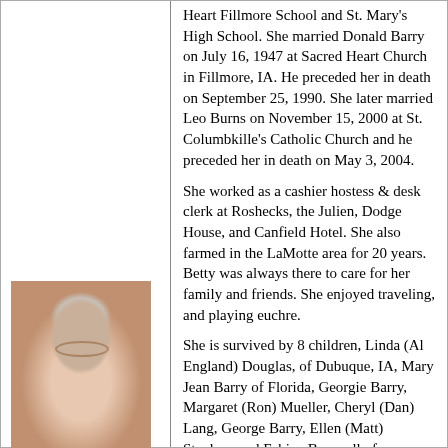[Figure (photo): Portrait photo of an elderly woman with short gray hair, glasses, and a pink floral top, smiling at the camera.]
Heart Fillmore School and St. Mary's High School. She married Donald Barry on July 16, 1947 at Sacred Heart Church in Fillmore, IA. He preceded her in death on September 25, 1990. She later married Leo Burns on November 15, 2000 at St. Columbkille's Catholic Church and he preceded her in death on May 3, 2004.
She worked as a cashier hostess & desk clerk at Roshecks, the Julien, Dodge House, and Canfield Hotel. She also farmed in the LaMotte area for 20 years. Betty was always there to care for her family and friends. She enjoyed traveling, and playing euchre.
She is survived by 8 children, Linda (Al England) Douglas, of Dubuque, IA, Mary Jean Barry of Florida, Georgie Barry, Margaret (Ron) Mueller, Cheryl (Dan) Lang, George Barry, Ellen (Matt) Stuckey, and Fabian Barry all of Dubuque, 19 grandchildren and many great-grandchildren. Nine godchildren, Nick Wagner, Anne Riniker, Dwayne Bertling, Betty Bradley,